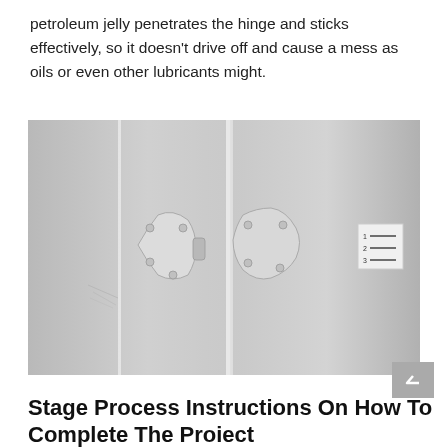petroleum jelly penetrates the hinge and sticks effectively, so it doesn't drive off and cause a mess as oils or even other lubricants might.
[Figure (photo): Close-up black and white photograph of a painted door hinge with decorative star/flower-shaped hinge plates on a white painted surface.]
Stage Process Instructions On How To Complete The Project